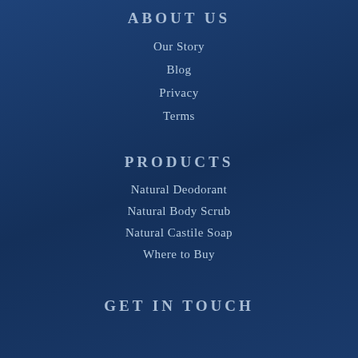ABOUT US
Our Story
Blog
Privacy
Terms
PRODUCTS
Natural Deodorant
Natural Body Scrub
Natural Castile Soap
Where to Buy
GET IN TOUCH